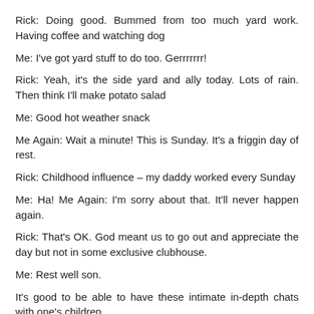Rick: Doing good. Bummed from too much yard work. Having coffee and watching dog
Me: I've got yard stuff to do too. Gerrrrrrr!
Rick: Yeah, it's the side yard and ally today. Lots of rain. Then think I'll make potato salad
Me: Good hot weather snack
Me Again: Wait a minute! This is Sunday. It's a friggin day of rest.
Rick: Childhood influence – my daddy worked every Sunday
Me: Ha! Me Again: I'm sorry about that. It'll never happen again.
Rick: That's OK. God meant us to go out and appreciate the day but not in some exclusive clubhouse.
Me: Rest well son.
It's good to be able to have these intimate in-depth chats with one's children.